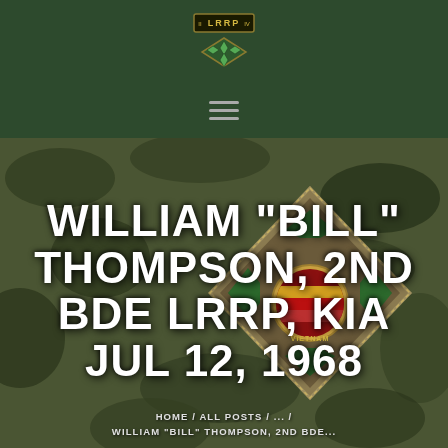[Figure (logo): LRRP military unit patch logo with scroll and diamond insignia on dark green header]
WILLIAM “BILL” THOMPSON, 2ND BDE LRRP, KIA JUL 12, 1968
[Figure (photo): Military patch/insignia on olive drab camouflage fabric background — diamond-shaped patch with green stars and Vietnam service ribbon design]
HOME / ALL POSTS / ... / WILLIAM “BILL” THOMPSON, 2ND BDE...